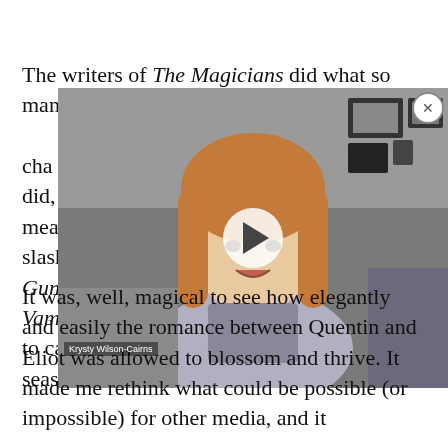The writers of The Magicians did what so many other shows have been afraid to do: honor the chemistry between these characters, embrace the love that shippers did, and we can't express enough what it means to someone who's been entrenched in slash since my teen years of watching Gundam Wing and Interview With the Vampire, to see a relationship go from subtext to canon to the guiding love story of an entire season.
[Figure (screenshot): Video overlay showing a woman with long reddish-brown hair speaking, with a play button in the center. Name label reads 'Krysty Wilson-Cairns'. Background shows a room with framed pictures.]
It was, well, magical to see how elegantly and easily the romance between Quentin and Eliot was allowed to blossom and thrive. It made me rethink what could be possible (or impossible) for other media, and it